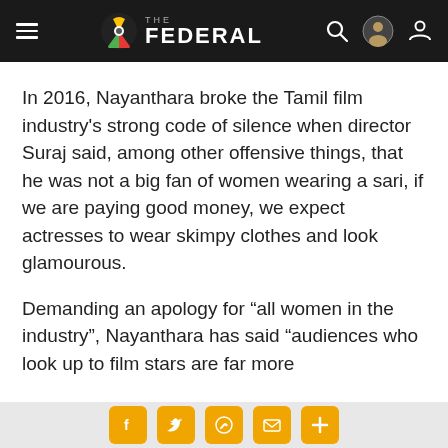THE FEDERAL
In 2016, Nayanthara broke the Tamil film industry's strong code of silence when director Suraj said, among other offensive things, that he was not a big fan of women wearing a sari, if we are paying good money, we expect actresses to wear skimpy clothes and look glamourous.
Demanding an apology for “all women in the industry”, Nayanthara has said “audiences who look up to film stars are far more
Social share buttons: Facebook, Twitter, WhatsApp, Email, More